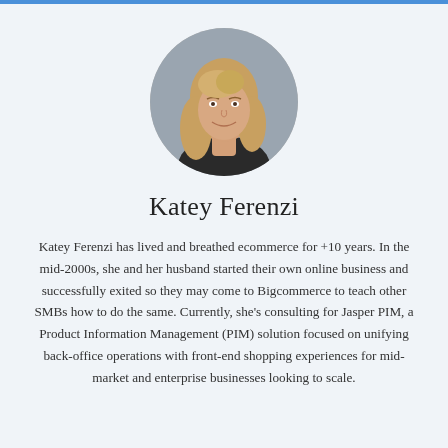[Figure (photo): Circular profile photo of Katey Ferenzi, a woman with long blonde hair, smiling, wearing a dark top, against a gray background.]
Katey Ferenzi
Katey Ferenzi has lived and breathed ecommerce for +10 years. In the mid-2000s, she and her husband started their own online business and successfully exited so they may come to Bigcommerce to teach other SMBs how to do the same. Currently, she's consulting for Jasper PIM, a Product Information Management (PIM) solution focused on unifying back-office operations with front-end shopping experiences for mid-market and enterprise businesses looking to scale.